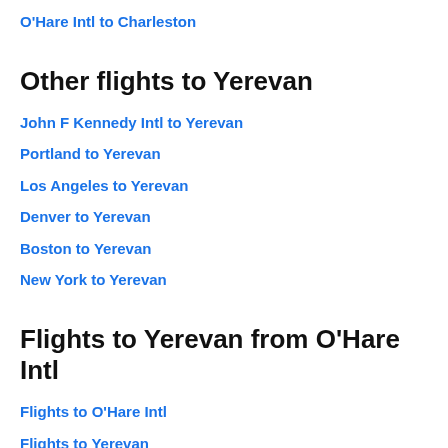O'Hare Intl to Charleston
Other flights to Yerevan
John F Kennedy Intl to Yerevan
Portland to Yerevan
Los Angeles to Yerevan
Denver to Yerevan
Boston to Yerevan
New York to Yerevan
Flights to Yerevan from O'Hare Intl
Flights to O'Hare Intl
Flights to Yerevan